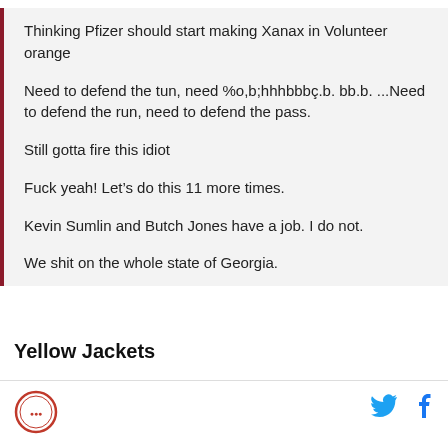Thinking Pfizer should start making Xanax in Volunteer orange
Need to defend the tun, need %o,b;hhhbbbç.b. bb.b. ...Need to defend the run, need to defend the pass.
Still gotta fire this idiot
Fuck yeah! Let's do this 11 more times.
Kevin Sumlin and Butch Jones have a job. I do not.
We shit on the whole state of Georgia.
Yellow Jackets
[Figure (logo): Circular red logo/seal in the footer]
[Figure (logo): Twitter bird icon (cyan) and Facebook f icon (blue) in the footer]